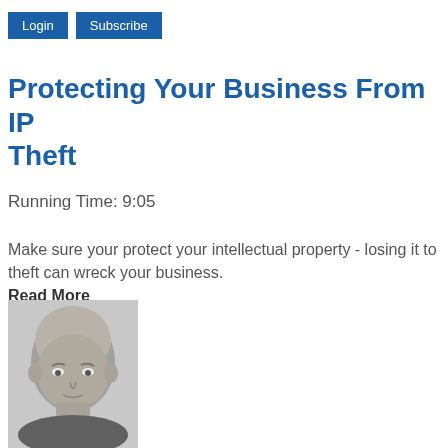Login  Subscribe
Protecting Your Business From IP Theft
Running Time: 9:05
Make sure your protect your intellectual property - losing it to theft can wreck your business. Read More
[Figure (photo): Black and white headshot photo of a bald man]